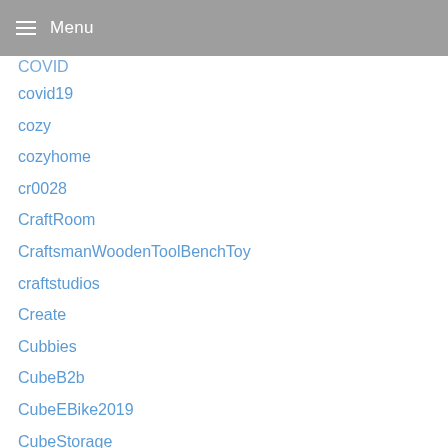Menu
COVID
covid19
cozy
cozyhome
cr0028
CraftRoom
CraftsmanWoodenToolBenchToy
craftstudios
Create
Cubbies
CubeB2b
CubeEBike2019
CubeStorage
CurbAppeal
currentdesignsituation
currentlywearing
CustomClosetDesigns